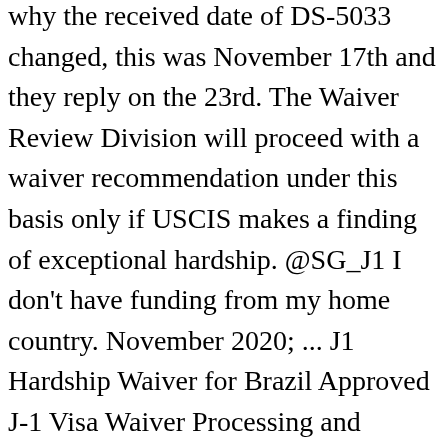why the received date of DS-5033 changed, this was November 17th and they reply on the 23rd. The Waiver Review Division will proceed with a waiver recommendation under this basis only if USCIS makes a finding of exceptional hardship. @SG_J1 I don't have funding from my home country. November 2020; ... J1 Hardship Waiver for Brazil Approved J-1 Visa Waiver Processing and Timeline in 2019. My visa is expiring at the end of February. If the proposed employer is exempt from the cap, then you can file at any time and you can begin working as soon as your